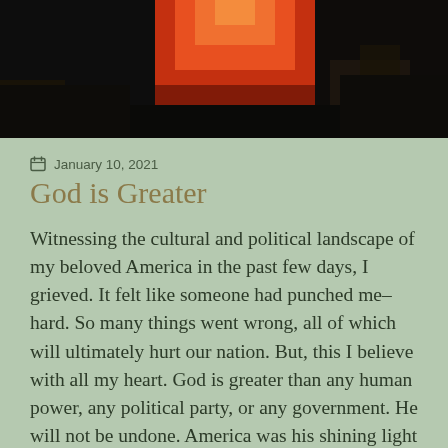[Figure (photo): Dark photograph with an orange-red glowing rectangle in the upper center against a near-black background, suggesting a dramatic sunset or fire behind buildings.]
January 10, 2021
God is Greater
Witnessing the cultural and political landscape of my beloved America in the past few days, I grieved. It felt like someone had punched me–hard. So many things went wrong, all of which will ultimately hurt our nation. But, this I believe with all my heart. God is greater than any human power, any political party, or any government. He will not be undone. America was his shining light on the hill and God desires it to remain a place of freedom and truth.